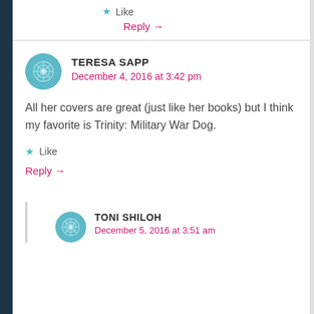Like
Reply →
TERESA SAPP
December 4, 2016 at 3:42 pm
All her covers are great (just like her books) but I think my favorite is Trinity: Military War Dog.
Like
Reply →
TONI SHILOH
December 5, 2016 at 3:51 am